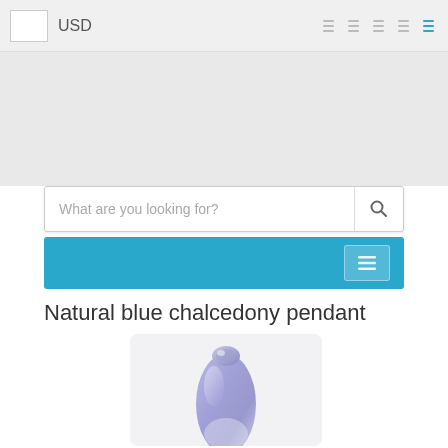USD
[Figure (screenshot): Search bar with placeholder text 'What are you looking for?' and a search icon button]
[Figure (screenshot): Teal navigation strip with a menu/filter button on the right]
Natural blue chalcedony pendant
[Figure (photo): Photo of a natural blue chalcedony pendant stone, showing a smooth elongated lavender-blue polished gemstone with a wire-wrapped top bail, photographed against a white background]